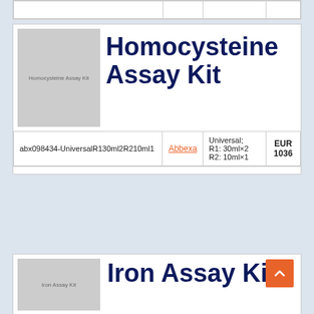[Figure (photo): Partial table row strip at top of page]
[Figure (photo): Homocysteine Assay Kit product image placeholder, grey square with text 'Homocysteine Assay Kit']
Homocysteine Assay Kit
| Catalog No. | Supplier | Specifications | Price |
| --- | --- | --- | --- |
| abx098434-UniversalR130ml2R210ml1 | Abbexa | Universal; R1: 30ml×2 R2: 10ml×1 | EUR 1036 |
[Figure (photo): Iron Assay Kit product image placeholder, grey square with text 'Iron Assay Kit']
Iron Assay Kit